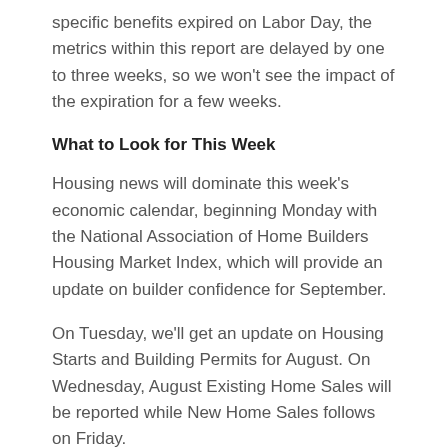specific benefits expired on Labor Day, the metrics within this report are delayed by one to three weeks, so we won't see the impact of the expiration for a few weeks.
What to Look for This Week
Housing news will dominate this week's economic calendar, beginning Monday with the National Association of Home Builders Housing Market Index, which will provide an update on builder confidence for September.
On Tuesday, we'll get an update on Housing Starts and Building Permits for August. On Wednesday, August Existing Home Sales will be reported while New Home Sales follows on Friday.